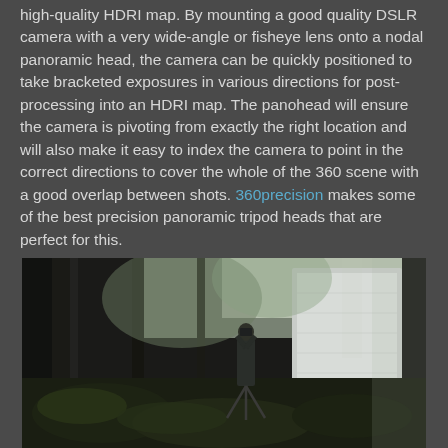high-quality HDRI map. By mounting a good quality DSLR camera with a very wide-angle or fisheye lens onto a nodal panoramic head, the camera can be quickly positioned to take bracketed exposures in various directions for post-processing into an HDRI map. The panohead will ensure the camera is pivoting from exactly the right location and will also make it easy to index the camera to point in the correct directions to cover the whole of the 360 scene with a good overlap between shots. 360precision makes some of the best precision panoramic tripod heads that are perfect for this.
[Figure (photo): A person standing in a forest with a camera on a tripod, photographing a large white reflective panel or screen. The scene is outdoors among tall trees with dappled light filtering through.]